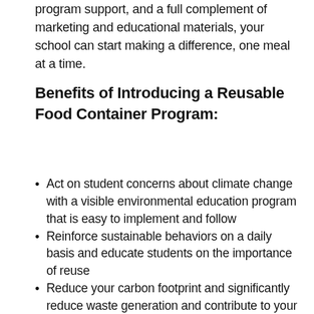program support, and a full complement of marketing and educational materials, your school can start making a difference, one meal at a time.
Benefits of Introducing a Reusable Food Container Program:
Act on student concerns about climate change with a visible environmental education program that is easy to implement and follow
Reinforce sustainable behaviors on a daily basis and educate students on the importance of reuse
Reduce your carbon footprint and significantly reduce waste generation and contribute to your school's broader environmental goals
Improve your food service